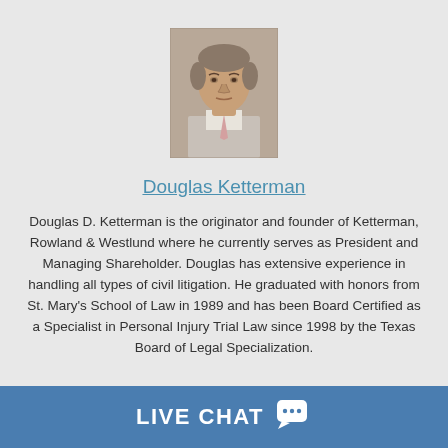[Figure (photo): Headshot photo of Douglas Ketterman, a middle-aged man in a light shirt and tie, professional portrait]
Douglas Ketterman
Douglas D. Ketterman is the originator and founder of Ketterman, Rowland & Westlund where he currently serves as President and Managing Shareholder. Douglas has extensive experience in handling all types of civil litigation. He graduated with honors from St. Mary's School of Law in 1989 and has been Board Certified as a Specialist in Personal Injury Trial Law since 1998 by the Texas Board of Legal Specialization.
LIVE CHAT